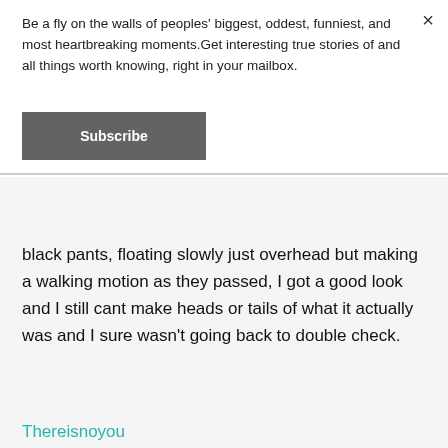Be a fly on the walls of peoples' biggest, oddest, funniest, and most heartbreaking moments.Get interesting true stories of and all things worth knowing, right in your mailbox.
Subscribe
black pants, floating slowly just overhead but making a walking motion as they passed, I got a good look and I still cant make heads or tails of what it actually was and I sure wasn't going back to double check.
Thereisnoyou